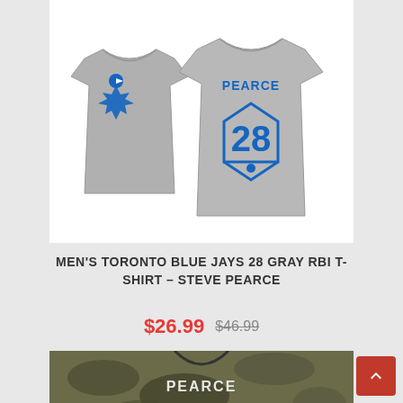[Figure (photo): Two gray Toronto Blue Jays t-shirts shown front and back. Front shirt has Blue Jays logo. Back shirt shows PEARCE name and number 28 on a home plate design.]
MEN'S TORONTO BLUE JAYS 28 GRAY RBI T-SHIRT – STEVE PEARCE
$26.99  $46.99
[Figure (photo): Camouflage pattern Toronto Blue Jays jersey showing PEARCE name and number 28, partially visible at bottom of page.]